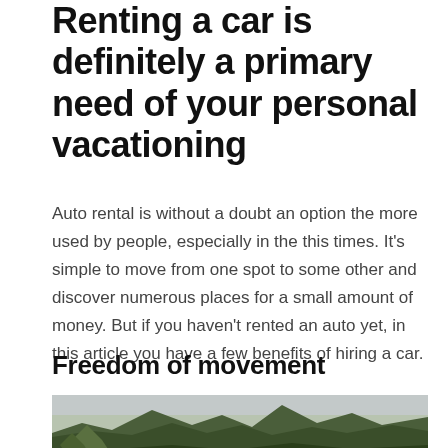Renting a car is definitely a primary need of your personal vacationing
Auto rental is without a doubt an option the more used by people, especially in the this times. It's simple to move from one spot to some other and discover numerous places for a small amount of money. But if you haven't rented an auto yet, in this article you have a few benefits of hiring a car.
Freedom of movement
[Figure (photo): Landscape photo showing green mountains and hills under an overcast sky]